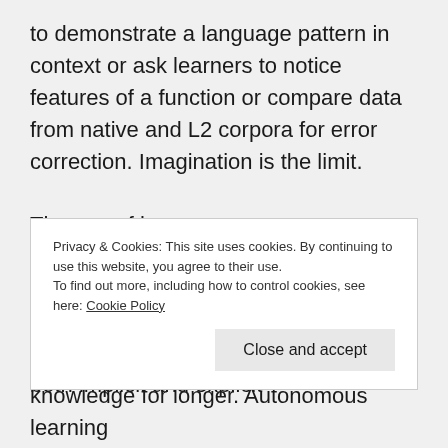to demonstrate a language pattern in context or ask learners to notice features of a function or compare data from native and L2 corpora for error correction. Imagination is the limit.

The use of language corpora as a resource holds significant benefits for the learners on many levels as well. Cheng (2010) states that it “has been shown to contribute to the acquisition of both implicit and explicit
Privacy & Cookies: This site uses cookies. By continuing to use this website, you agree to their use.
To find out more, including how to control cookies, see here: Cookie Policy
knowledge for longer. Autonomous learning